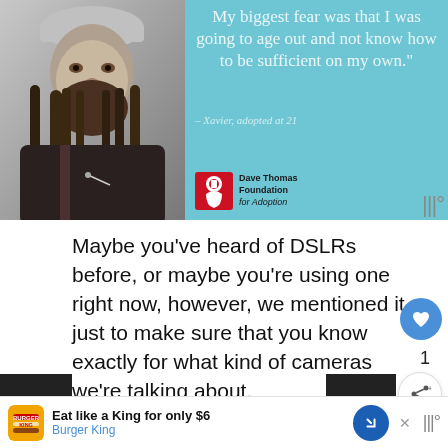[Figure (photo): Black and white photo of a young man with beard and beanie hat on left half, with a teal/light blue background on right half showing a quote: 'My biggest fear was that I was going to age out and not know how to be sufficient on my own.' – Xavier, adopted at 21, with Dave Thomas Foundation for Adoption logo.]
Maybe you've heard of DSLRs before, or maybe you're using one right now, however, we mentioned it just to make sure that you know exactly for what kind of cameras we're talking about.
If you're just starting out, then these two entry-
[Figure (other): Advertisement banner: Burger King logo with text 'Eat like a King for only $6' and 'Burger King', with a blue diamond-shaped navigation arrow icon.]